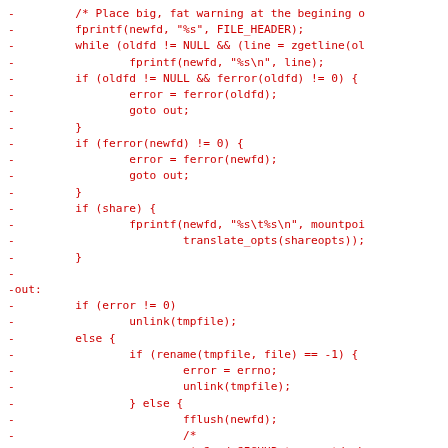[Figure (other): Diff/patch code listing in red monospace font showing C code changes with minus signs indicating removed lines, including file I/O operations, error handling, share logic, and restart_mountd call.]